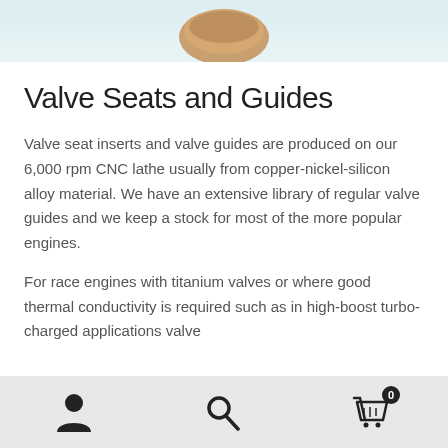[Figure (photo): Partial view of a valve seat or guide component, brownish/copper colored, shown at top of page]
Valve Seats and Guides
Valve seat inserts and valve guides are produced on our 6,000 rpm CNC lathe usually from copper-nickel-silicon alloy material. We have an extensive library of regular valve guides and we keep a stock for most of the more popular engines.
For race engines with titanium valves or where good thermal conductivity is required such as in high-boost turbo-charged applications valve
Navigation bar with user account, search, and cart (0) icons